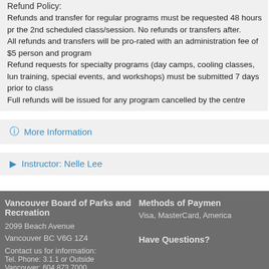Refund Policy:
Refunds and transfer for regular programs must be requested 48 hours prior to the 2nd scheduled class/session. No refunds or transfers after.
All refunds and transfers will be pro-rated with an administration fee of $5 per person and program
Refund requests for specialty programs (day camps, cooling classes, lunch training, special events, and workshops) must be submitted 7 days prior to class
Full refunds will be issued for any program cancelled by the centre
More Information
Instructor: Nelle Lee
Vancouver Board of Parks and Recreation
2099 Beach Avenue
Vancouver BC V6G 1Z4
Contact us for information:
Tel. Phone: 3.1.1 or Outside Vancouver: 604 873 7000
Methods of Payment
Visa, MasterCard, America
Have Questions?